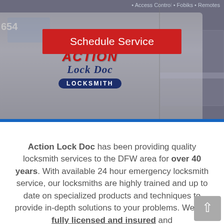[Figure (photo): Action Lock Doc locksmith service van with logo displayed on the door. Dark overlay on the photo. Red 'Schedule Service' button overlaid on the image. Partial phone number '654' visible top left. Bullet points 'Fobiks' and 'Remotes' visible top right along with partial 'Access Control' text.]
Action Lock Doc has been providing quality locksmith services to the DFW area for over 40 years. With available 24 hour emergency locksmith service, our locksmiths are highly trained and up to date on specialized products and techniques to provide in-depth solutions to your problems. We are fully licensed and insured and